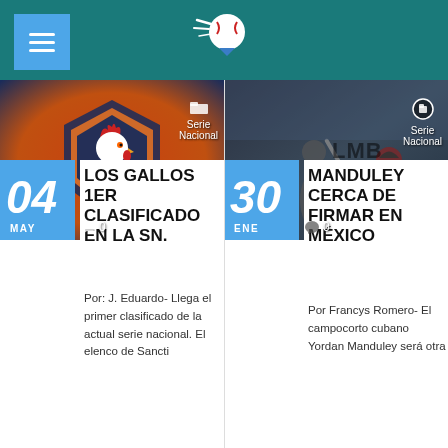Sports news site header with logo
[Figure (photo): Rooster/Gallos baseball team logo on orange background]
Serie Nacional
0
04 MAY
LOS GALLOS 1ER CLASIFICADO EN LA SN.
Por: J. Eduardo- Llega el primer clasificado de la actual serie nacional. El elenco de Sancti
[Figure (photo): Baseball game photo with batter and catcher, LMB logo visible]
Serie Nacional
0
30 ENE
MANDULEY CERCA DE FIRMAR EN MÉXICO
Por Francys Romero- El campocorto cubano Yordan Manduley será otra